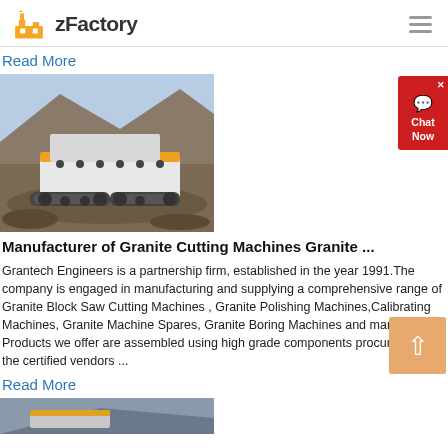zFactory
Read More
[Figure (photo): A mobile stone crushing machine operating on a rocky quarry site, with mountains in the background. The machine has yellow and white coloring with tracked undercarriage.]
Manufacturer of Granite Cutting Machines Granite ...
Grantech Engineers is a partnership firm, established in the year 1991.The company is engaged in manufacturing and supplying a comprehensive range of Granite Block Saw Cutting Machines , Granite Polishing Machines,Calibrating Machines, Granite Machine Spares, Granite Boring Machines and many others. Products we offer are assembled using high grade components procured from the certified vendors ...
Read More
[Figure (photo): Partial view of another industrial machine at the bottom of the page.]